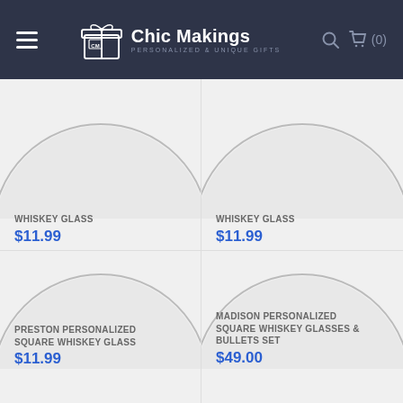Chic Makings — Personalized & Unique Gifts
WHISKEY GLASS
$11.99
WHISKEY GLASS
$11.99
[Figure (photo): Circular product image placeholder for whiskey glass (top-left)]
[Figure (photo): Circular product image placeholder for whiskey glass (top-right)]
PRESTON PERSONALIZED SQUARE WHISKEY GLASS
$11.99
[Figure (photo): Circular product image placeholder for Preston Personalized Square Whiskey Glass]
MADISON PERSONALIZED SQUARE WHISKEY GLASSES & BULLETS SET
$49.00
[Figure (photo): Circular product image placeholder for Madison Personalized Square Whiskey Glasses & Bullets Set]